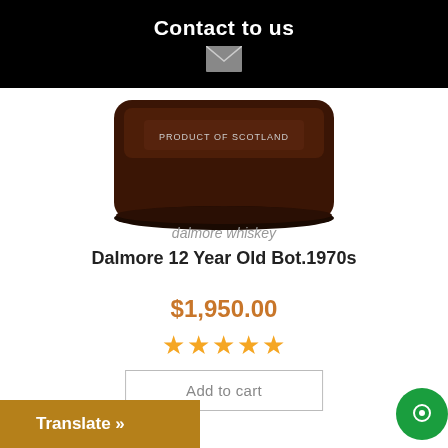Contact to us
[Figure (photo): Bottom of a Dalmore whisky bottle showing dark amber glass and label reading PRODUCT OF SCOTLAND]
dalmore whiskey
Dalmore 12 Year Old Bot.1970s
$1,950.00
[Figure (other): Five gold star rating]
Add to cart
Translate »